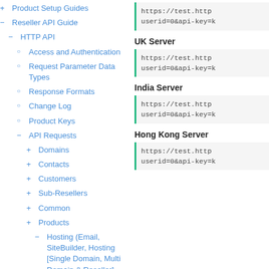+ Product Setup Guides
− Reseller API Guide
− HTTP API
○ Access and Authentication
○ Request Parameter Data Types
○ Response Formats
○ Change Log
○ Product Keys
− API Requests
+ Domains
+ Contacts
+ Customers
+ Sub-Resellers
+ Common
+ Products
− Hosting (Email, SiteBuilder, Hosting [Single Domain, Multi Domain & Reseller], Server [VPS, Dedicated &
UK Server
https://test.http
userid=0&api-key=k
India Server
https://test.http
userid=0&api-key=k
Hong Kong Server
https://test.http
userid=0&api-key=k